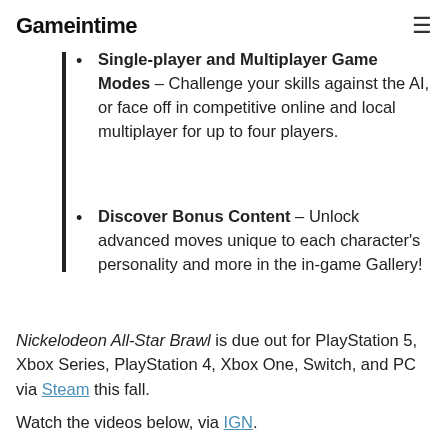Gameintime
Single-player and Multiplayer Game Modes – Challenge your skills against the AI, or face off in competitive online and local multiplayer for up to four players.
Discover Bonus Content – Unlock advanced moves unique to each character's personality and more in the in-game Gallery!
Nickelodeon All-Star Brawl is due out for PlayStation 5, Xbox Series, PlayStation 4, Xbox One, Switch, and PC via Steam this fall.
Watch the videos below, via IGN.